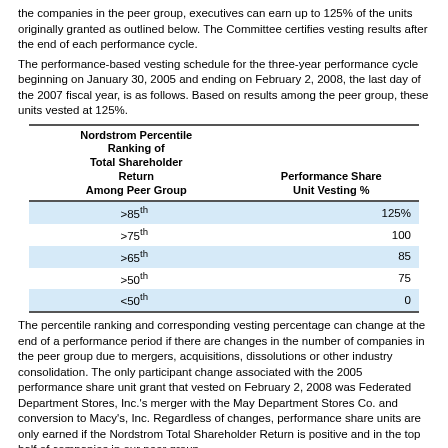the companies in the peer group, executives can earn up to 125% of the units originally granted as outlined below. The Committee certifies vesting results after the end of each performance cycle.
The performance-based vesting schedule for the three-year performance cycle beginning on January 30, 2005 and ending on February 2, 2008, the last day of the 2007 fiscal year, is as follows. Based on results among the peer group, these units vested at 125%.
| Nordstrom Percentile Ranking of Total Shareholder Return Among Peer Group | Performance Share Unit Vesting % |
| --- | --- |
| >85th | 125% |
| >75th | 100 |
| >65th | 85 |
| >50th | 75 |
| <50th | 0 |
The percentile ranking and corresponding vesting percentage can change at the end of a performance period if there are changes in the number of companies in the peer group due to mergers, acquisitions, dissolutions or other industry consolidation. The only participant change associated with the 2005 performance share unit grant that vested on February 2, 2008 was Federated Department Stores, Inc.'s merger with the May Department Stores Co. and conversion to Macy's, Inc. Regardless of changes, performance share units are only earned if the Nordstrom Total Shareholder Return is positive and in the top half of companies in our peer group.
33